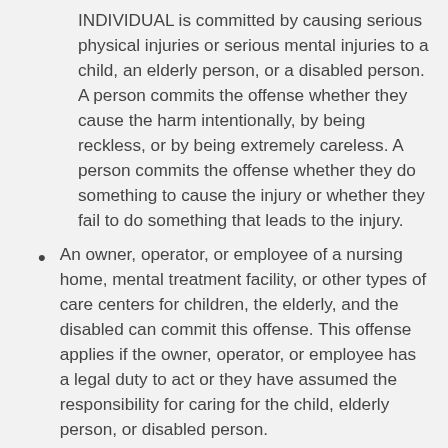INDIVIDUAL is committed by causing serious physical injuries or serious mental injuries to a child, an elderly person, or a disabled person. A person commits the offense whether they cause the harm intentionally, by being reckless, or by being extremely careless. A person commits the offense whether they do something to cause the injury or whether they fail to do something that leads to the injury.
An owner, operator, or employee of a nursing home, mental treatment facility, or other types of care centers for children, the elderly, and the disabled can commit this offense. This offense applies if the owner, operator, or employee has a legal duty to act or they have assumed the responsibility for caring for the child, elderly person, or disabled person.